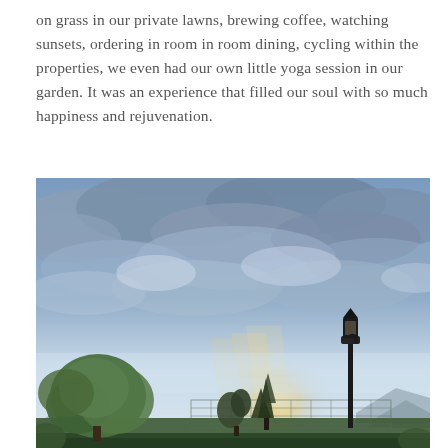on grass in our private lawns, brewing coffee, watching sunsets, ordering in room in room dining, cycling within the properties, we even had our own little yoga session in our garden. It was an experience that filled our soul with so much happiness and rejuvenation.
[Figure (photo): Outdoor sunset scene with a dramatic sky of blue-grey clouds with warm golden light breaking through. In the foreground there are green trees and a black ornate streetlamp on the right. A chain-link fence and what appears to be a sports court are visible in the middle ground, with mountain silhouettes in the background.]